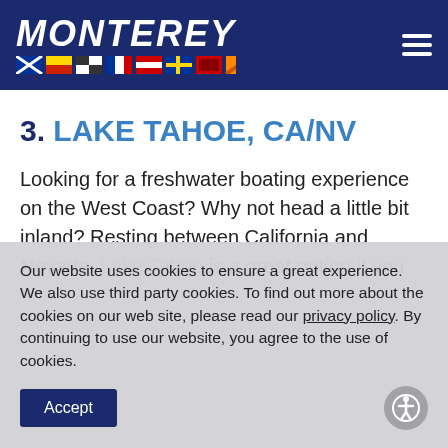MONTEREY
3. LAKE TAHOE, CA/NV
Looking for a freshwater boating experience on the West Coast? Why not head a little bit inland? Resting between California and Nevada, Lake Tahoe is a great option if you
Our website uses cookies to ensure a great experience. We also use third party cookies. To find out more about the cookies on our web site, please read our privacy policy. By continuing to use our website, you agree to the use of cookies.